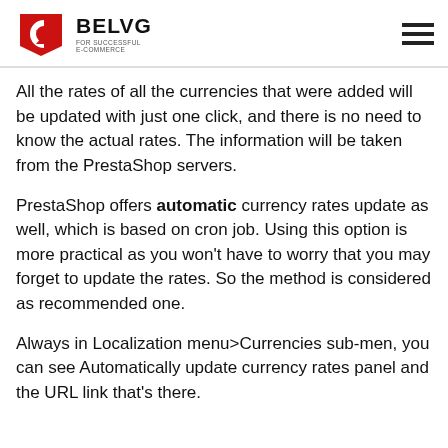BELVG FOR SUCCESSFUL E-COMMERCE
All the rates of all the currencies that were added will be updated with just one click, and there is no need to know the actual rates. The information will be taken from the PrestaShop servers.
PrestaShop offers automatic currency rates update as well, which is based on cron job. Using this option is more practical as you won't have to worry that you may forget to update the rates. So the method is considered as recommended one.
Always in Localization menu>Currencies sub-men, you can see Automatically update currency rates panel and the URL link that's there.